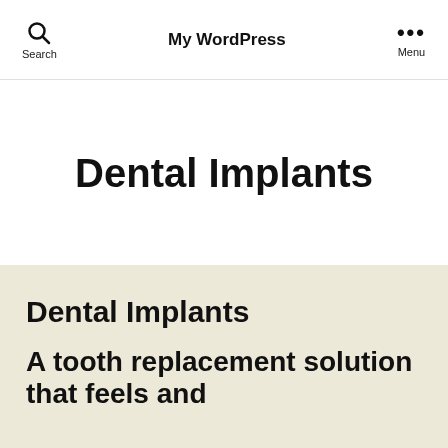Search  My WordPress  Menu
Dental Implants
Dental Implants
A tooth replacement solution that feels and